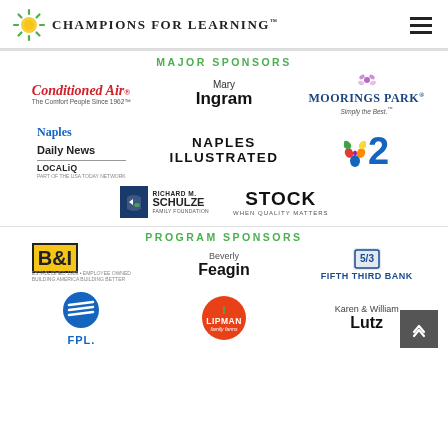[Figure (logo): Champions for Learning logo with sunburst icon and text]
MAJOR SPONSORS
[Figure (logo): Conditioned Air - The Comfort People Since 1962]
[Figure (logo): Mary Ingram sponsor name]
[Figure (logo): Moorings Park - Simply the Best]
[Figure (logo): Naples Daily News / LOCALiQ]
[Figure (logo): Naples Illustrated]
[Figure (logo): NBC2 logo]
[Figure (logo): Richard M. Schulze Family Foundation]
[Figure (logo): Stock - When Quality Matters]
PROGRAM SPONSORS
[Figure (logo): B&I logo]
[Figure (logo): Beverly Feagin sponsor name]
[Figure (logo): Fifth Third Bank logo]
[Figure (logo): FPL logo]
[Figure (logo): Lipman Family Farms logo]
[Figure (logo): Karen & William Lutz sponsor name]